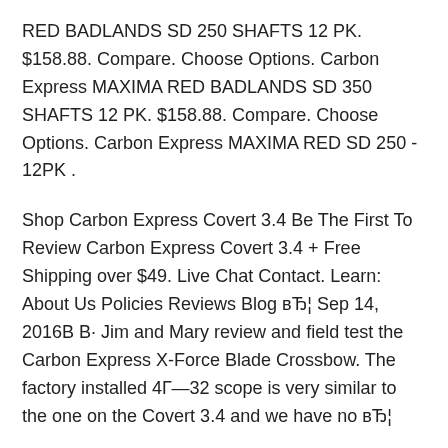RED BADLANDS SD 250 SHAFTS 12 PK. $158.88. Compare. Choose Options. Carbon Express MAXIMA RED BADLANDS SD 350 SHAFTS 12 PK. $158.88. Compare. Choose Options. Carbon Express MAXIMA RED SD 250 - 12PK .
Shop Carbon Express Covert 3.4 Be The First To Review Carbon Express Covert 3.4 + Free Shipping over $49. Live Chat Contact. Learn: About Us Policies Reviews Blog вЂ¦ Sep 14, 2016В В· Jim and Mary review and field test the Carbon Express X-Force Blade Crossbow. The factory installed 4Г—32 scope is very similar to the one on the Covert 3.4 and we have no вЂ¦
Dec 10, 2019В В· Talk about anything related to Carbon Express Crossbows... Carbon Express Crossbows. Talk about anything related to Carbon Express Crossbows... Sep 29,